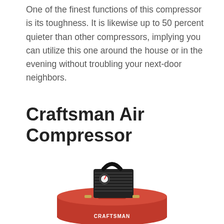One of the finest functions of this compressor is its toughness. It is likewise up to 50 percent quieter than other compressors, implying you can utilize this one around the house or in the evening without troubling your next-door neighbors.
Craftsman Air Compressor
[Figure (photo): A red Craftsman air compressor with black motor and handle on top, showing the CRAFTSMAN logo on the red tank and USA branding.]